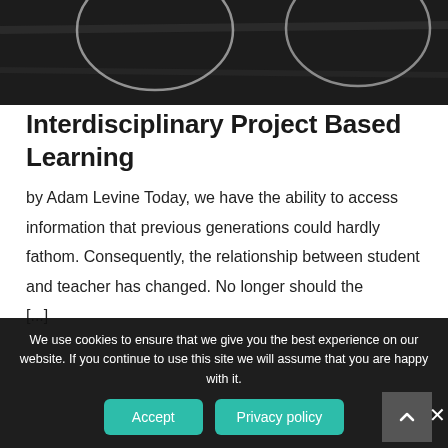[Figure (photo): Chalkboard image with chalk-drawn circles/ovals on dark blackboard background, partially visible at top of page]
Interdisciplinary Project Based Learning
by Adam Levine Today, we have the ability to access information that previous generations could hardly fathom. Consequently, the relationship between student and teacher has changed. No longer should the [...]
We use cookies to ensure that we give you the best experience on our website. If you continue to use this site we will assume that you are happy with it.